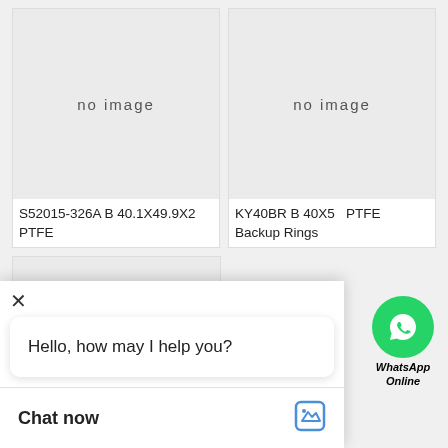[Figure (screenshot): Product listing card with 'no image' placeholder for S52015-326A B 40.1X49.9X2 PTFE]
S52015-326A B 40.1X49.9X2 PTFE
[Figure (screenshot): Product listing card with 'no image' placeholder for KY40BR B 40X56 PTFE Backup Rings PTFE]
KY40BR B 40X56 PTFE Backup Rings PTFE
[Figure (logo): WhatsApp green circle icon with phone handset]
WhatsApp Online
Hello, how may I help you?
Chat now